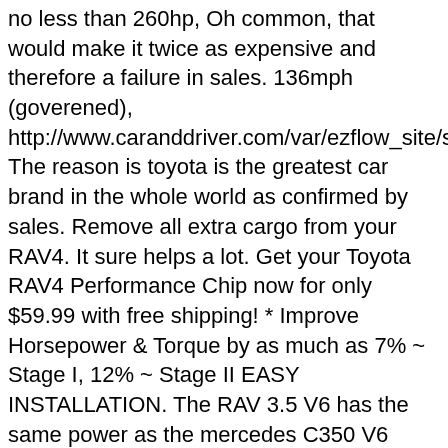no less than 260hp, Oh common, that would make it twice as expensive and therefore a failure in sales. 136mph (goverened), http://www.caranddriver.com/var/ezflow_site/storage/or The reason is toyota is the greatest car brand in the whole world as confirmed by sales. Remove all extra cargo from your RAV4. It sure helps a lot. Get your Toyota RAV4 Performance Chip now for only $59.99 with free shipping! * Improve Horsepower & Torque by as much as 7% ~ Stage I, 12% ~ Stage II EASY INSTALLATION. The RAV 3.5 V6 has the same power as the mercedes C350 V6 which is also a 3.5L but the mercedes is beaten thoroughly on reliability on the same engine. Step 1. Our advertising partners may also use cookies in accordance with their respective privacy policies to provide adverts of most interest to you based on sites you visit and search terms and collate interest based statistics to do so. Diesel is the